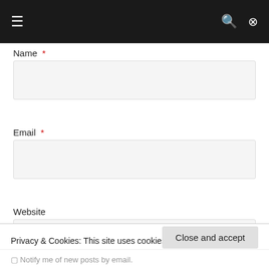[Figure (screenshot): Navigation bar with hamburger menu icon on left and search/shuffle icons on right, dark background]
Name *
[Figure (other): Name input text field, empty, light gray background]
Email *
[Figure (other): Email input text field, empty, light gray background]
Website
[Figure (other): Website input text field, partially visible, light gray background]
Privacy & Cookies: This site uses cookies. By continuing to use this website, you agree to their use.
To find out more, including how to control cookies, see here: Cookie Policy
Close and accept
Notify me of new posts by email.